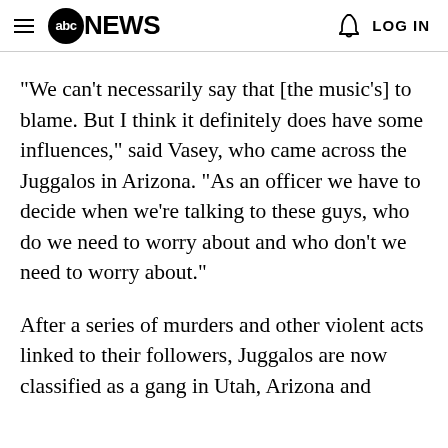abc NEWS | LOG IN
"We can't necessarily say that [the music's] to blame. But I think it definitely does have some influences," said Vasey, who came across the Juggalos in Arizona. "As an officer we have to decide when we're talking to these guys, who do we need to worry about and who don't we need to worry about."
After a series of murders and other violent acts linked to their followers, Juggalos are now classified as a gang in Utah, Arizona and